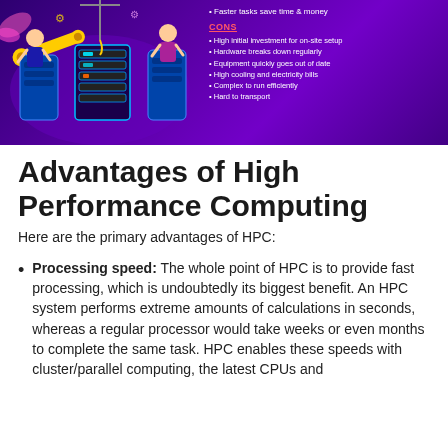[Figure (infographic): Purple-background infographic showing HPC pros and cons with illustrated characters and server racks. Right side lists: Faster tasks save time & money under pros; CONS header in red/pink with bullets: High initial investment for on-site setup, Hardware breaks down regularly, Equipment quickly goes out of date, High cooling and electricity bills, Complex to run efficiently, Hard to transport.]
Advantages of High Performance Computing
Here are the primary advantages of HPC:
Processing speed: The whole point of HPC is to provide fast processing, which is undoubtedly its biggest benefit. An HPC system performs extreme amounts of calculations in seconds, whereas a regular processor would take weeks or even months to complete the same task. HPC enables these speeds with cluster/parallel computing, the latest CPUs and